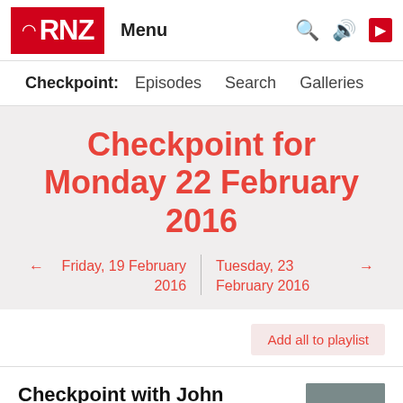RNZ Menu
Checkpoint: Episodes Search Galleries
Checkpoint for Monday 22 February 2016
← Friday, 19 February 2016 | Tuesday, 23 February 2016 →
Add all to playlist
Checkpoint with John Campbell, Monday 22nd February 2016